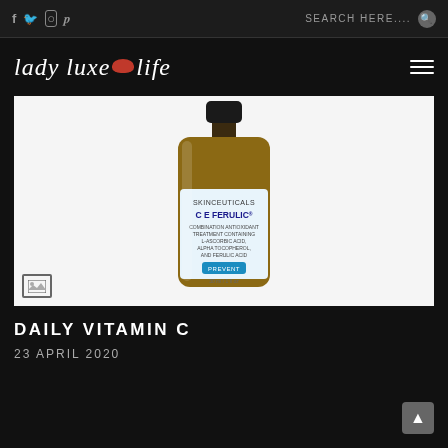Lady Luxe Life — navigation bar with social icons (f, twitter, instagram, pinterest), search bar, and logo
[Figure (photo): SkinCeuticals C E Ferulic serum bottle — amber glass bottle with black cap on white background. Label reads: SkinCeuticals / C E FERULIC / Combination Antioxidant Treatment Containing L-Ascorbic Acid, Alpha Tocopherol, and Ferulic Acid / PREVENT / 30ml / 1 fl oz]
DAILY VITAMIN C
23 APRIL 2020